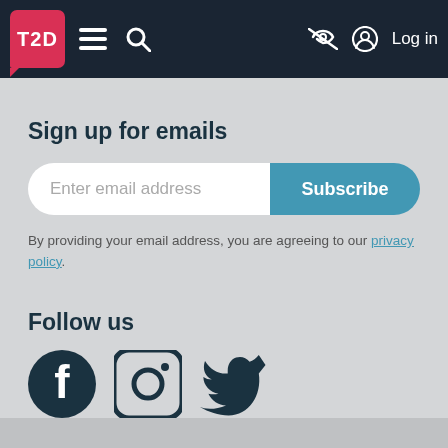T2D — navigation bar with menu, search, accessibility, and Log in
Sign up for emails
Enter email address  Subscribe
By providing your email address, you are agreeing to our privacy policy.
Follow us
[Figure (illustration): Social media icons: Facebook, Instagram, Twitter]